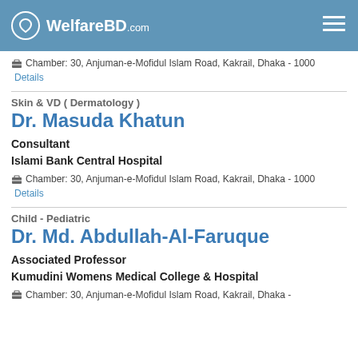WelfareBD.com
Chamber: 30, Anjuman-e-Mofidul Islam Road, Kakrail, Dhaka - 1000  Details
Skin & VD ( Dermatology )
Dr. Masuda Khatun
Consultant
Islami Bank Central Hospital
Chamber: 30, Anjuman-e-Mofidul Islam Road, Kakrail, Dhaka - 1000  Details
Child - Pediatric
Dr. Md. Abdullah-Al-Faruque
Associated Professor
Kumudini Womens Medical College & Hospital
Chamber: 30, Anjuman-e-Mofidul Islam Road, Kakrail, Dhaka -